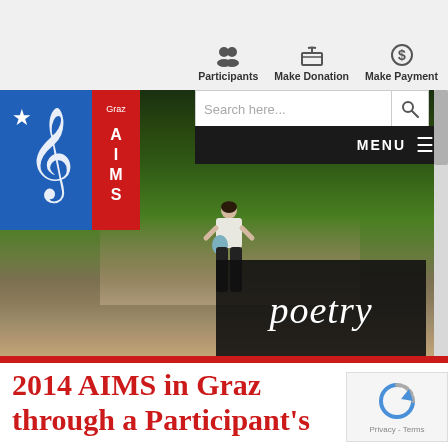Participants   Make Donation   Make Payment
[Figure (screenshot): Website screenshot showing AIMS organization page with navigation bar (Participants, Make Donation, Make Payment icons), search bar, dark MENU bar, and a hero image of a woman standing on a mountain cliff overlooking a forested valley with a dark overlay box containing the word 'poetry' in italic serif font. AIMS logo in top left with blue and red design.]
2014 AIMS in Graz through a Participant's